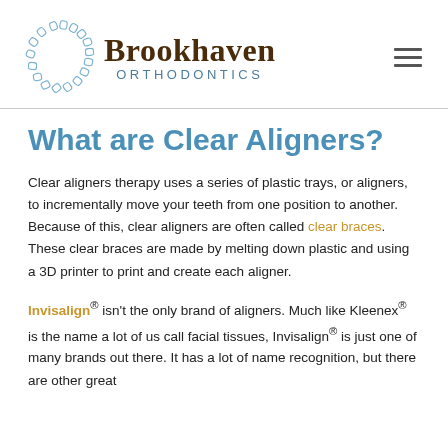[Figure (logo): Brookhaven Orthodontics logo with circular tooth pattern and text]
What are Clear Aligners?
Clear aligners therapy uses a series of plastic trays, or aligners, to incrementally move your teeth from one position to another. Because of this, clear aligners are often called clear braces. These clear braces are made by melting down plastic and using a 3D printer to print and create each aligner.
Invisalign® isn't the only brand of aligners. Much like Kleenex® is the name a lot of us call facial tissues, Invisalign® is just one of many brands out there. It has a lot of name recognition, but there are other great